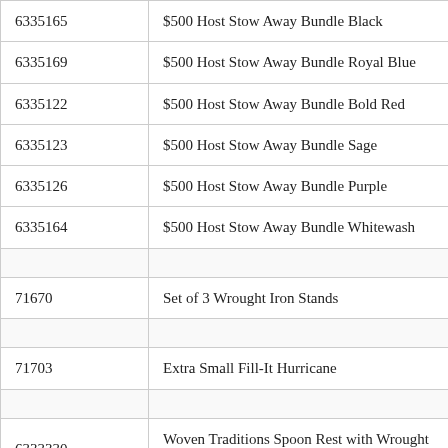| ID | Description |
| --- | --- |
| 6335165 | $500 Host Stow Away Bundle Black |
| 6335169 | $500 Host Stow Away Bundle Royal Blue |
| 6335122 | $500 Host Stow Away Bundle Bold Red |
| 6335123 | $500 Host Stow Away Bundle Sage |
| 6335126 | $500 Host Stow Away Bundle Purple |
| 6335164 | $500 Host Stow Away Bundle Whitewash |
|  |  |
| 71670 | Set of 3 Wrought Iron Stands |
|  |  |
| 71703 | Extra Small Fill-It Hurricane |
|  |  |
| 6333330 | Woven Traditions Spoon Rest with Wrought Iron Cornflower |
| 6333340 | Woven Traditions Spoon Rest with Wrought Iron Paprika |